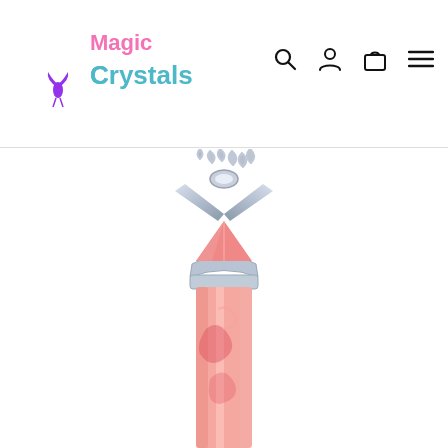[Figure (logo): Magic Crystals logo with pink crescent moon, fairy/bird silhouette in purple, and text 'Magic Crystals' with 'Magic' in pink and 'Crystals' in teal/multicolor gradient]
[Figure (other): Navigation icons: search (magnifying glass), account (person silhouette), cart (shopping bag), menu (hamburger/three lines)]
[Figure (photo): Close-up photo of a pink/rose crystal point pendant on a silver chain necklace. The crystal is a pointed hexagonal column in light pink/rose color with darker pink swirls, held in a silver metal cap/bail fitting.]